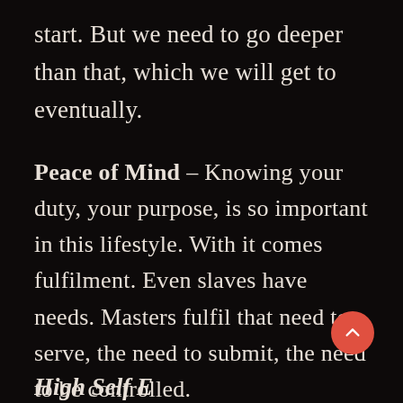start. But we need to go deeper than that, which we will get to eventually.
Peace of Mind – Knowing your duty, your purpose, is so important in this lifestyle. With it comes fulfilment. Even slaves have needs. Masters fulfil that need to serve, the need to submit, the need to be controlled.
High Self E...